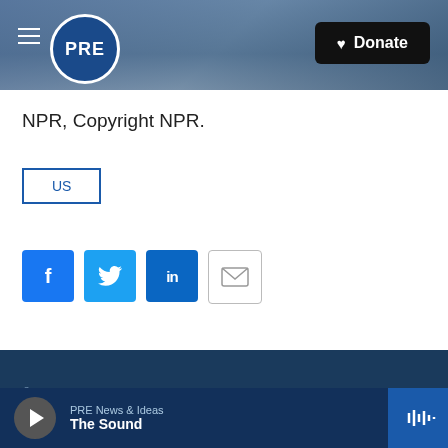[Figure (screenshot): PRE (Public Radio East) website header with logo, hamburger menu, ocean wave background image, and Donate button]
NPR, Copyright NPR.
US
[Figure (infographic): Social share buttons: Facebook, Twitter, LinkedIn, Email]
© 2022 Public Radio East
PRE News & Ideas
The Sound